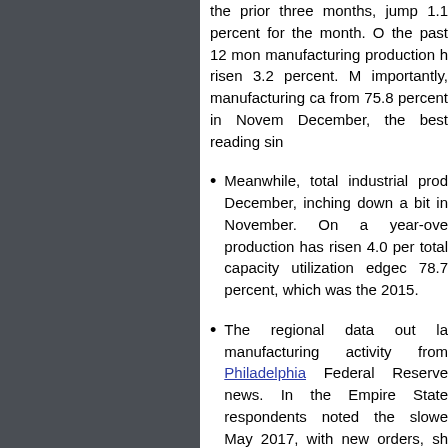the prior three months, jump 1.1 percent for the month. Over the past 12 months, manufacturing production has risen 3.2 percent. More importantly, manufacturing capacity from 75.8 percent in November to December, the best reading since
Meanwhile, total industrial production in December, inching down a bit in November. On a year-over production has risen 4.0 percent, total capacity utilization edged up to 78.7 percent, which was the best since 2015.
The regional data out last week on manufacturing activity from the New York and Philadelphia Federal Reserve offered mixed news. In the Empire State survey, respondents noted the slowest growth since May 2017, with new orders, shipments softening. In contrast, the Philadelphia report reflected activity that remained free of weaknesses in December. That said, manufacturers in both districts have a positive outlook for the next six months.
Those surveys also noted stab